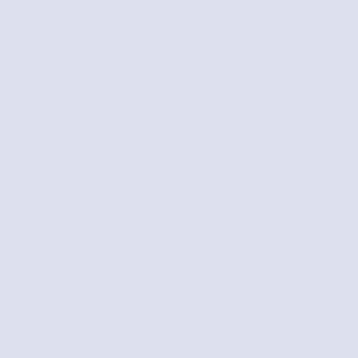NOTE: THIS TOOLKIT IS AN EXCEPTION... UPLOAD ANY FURTHER TOOLKITS.

Game not uploaded:
Goofy Magazine 1 - Read the submission rules. .zip file, game must contain STK, .zip file must... if you need help, go here. Utilities page to be updated in time (probably later today).
Herro!
Posted by Funk at 3:09PM, April...
You're probably wondering why GOTM hasn't been updated too. Blame it on my laziness!

Anyway, the poll has been locked, and updates will begin again tomorrow.
DNDNDNDNDN
Posted by Zenith at 8:59AM, March...
Due to extenuating circumstances (Chris) #mi... back to (more stable) espernet. Most of you kr... got 24 hours before lockdown. Ask Vedic or K... you are unsure how to join esper.

Use chobofo.esper.net or neskaya.esper.net as s...